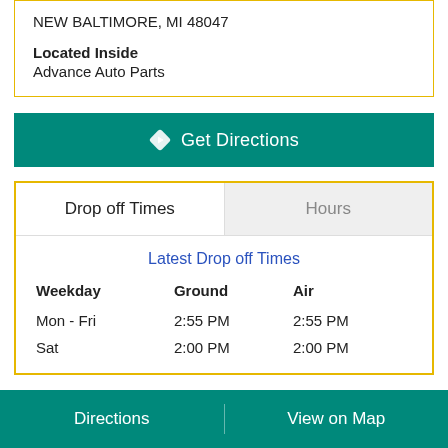NEW BALTIMORE, MI 48047
Located Inside
Advance Auto Parts
Get Directions
Drop off Times
Hours
Latest Drop off Times
| Weekday | Ground | Air |
| --- | --- | --- |
| Mon - Fri | 2:55 PM | 2:55 PM |
| Sat | 2:00 PM | 2:00 PM |
Directions	View on Map